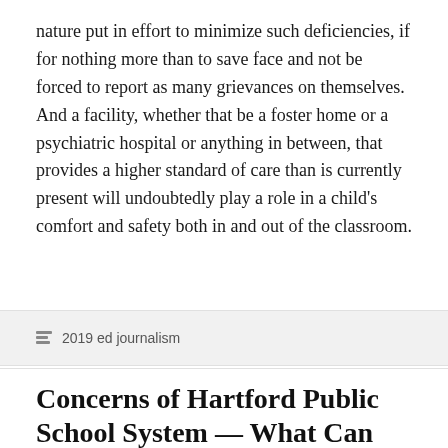nature put in effort to minimize such deficiencies, if for nothing more than to save face and not be forced to report as many grievances on themselves. And a facility, whether that be a foster home or a psychiatric hospital or anything in between, that provides a higher standard of care than is currently present will undoubtedly play a role in a child's comfort and safety both in and out of the classroom.
2019 ed journalism
Concerns of Hartford Public School System — What Can We Do?